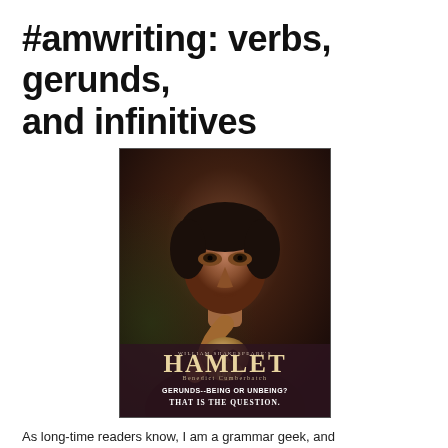#amwriting: verbs, gerunds, and infinitives
[Figure (illustration): Movie poster parody of Hamlet featuring Benedict Cumberbatch holding a skull, with dark moody background. Text reads: WILLIAM SHAKESPEARE'S HAMLET Benedict Cumberbatch GERUNDS--BEING OR UNBEING? THAT IS THE QUESTION.]
As long-time readers know, I am a grammar geek, and